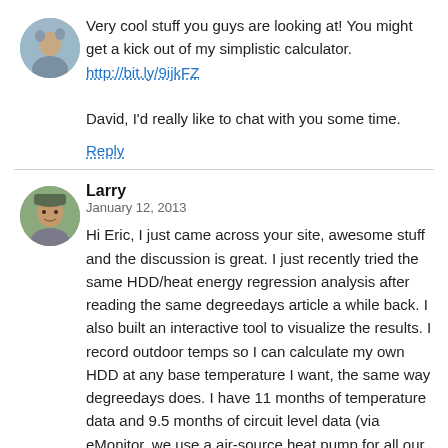Very cool stuff you guys are looking at! You might get a kick out of my simplistic calculator. http://bit.ly/9ijkFZ

David, I'd really like to chat with you some time.
Reply
Larry
January 12, 2013
Hi Eric, I just came across your site, awesome stuff and the discussion is great. I just recently tried the same HDD/heat energy regression analysis after reading the same degreedays article a while back. I also built an interactive tool to visualize the results. I record outdoor temps so I can calculate my own HDD at any base temperature I want, the same way degreedays does. I have 11 months of temperature data and 9.5 months of circuit level data (via eMonitor, we use a air-source heat pump for all our heat) but I used the HDD data to estimate what our heating energy might have been for the months we don't have circuit level data. I just wrote about it on our blog. http://uphillhouse.wordpress.com/2013/01/09/estimating-heat-energy-for-2012/. The visualization tool is on my